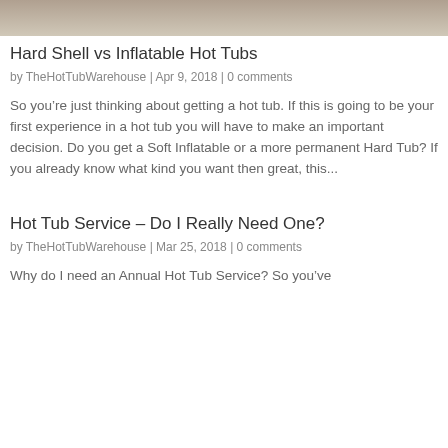[Figure (photo): Top portion of a photo showing a hot tub in winter/snowy setting, cropped at the top of the page]
Hard Shell vs Inflatable Hot Tubs
by TheHotTubWarehouse | Apr 9, 2018 | 0 comments
So you're just thinking about getting a hot tub. If this is going to be your first experience in a hot tub you will have to make an important decision. Do you get a Soft Inflatable or a more permanent Hard Tub? If you already know what kind you want then great, this...
Hot Tub Service – Do I Really Need One?
by TheHotTubWarehouse | Mar 25, 2018 | 0 comments
Why do I need an Annual Hot Tub Service? So you've